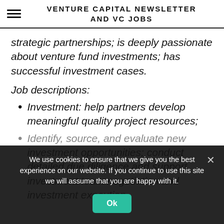VENTURE CAPITAL NEWSLETTER AND VC JOBS
strategic partnerships; is deeply passionate about venture fund investments; has successful investment cases.
Job descriptions:
Investment: help partners develop meaningful quality project resources;
Identify, source, and evaluate new investment opportunities; conduct detailed due diligence and support investment team negotiation and investment execution.